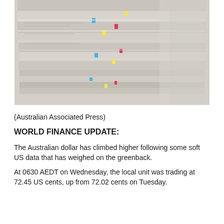[Figure (photo): A stack of newspapers photographed close-up, showing folded and layered newspapers with colorful tabs visible on the spines, blurred background.]
(Australian Associated Press)
WORLD FINANCE UPDATE:
The Australian dollar has climbed higher following some soft US data that has weighed on the greenback.
At 0630 AEDT on Wednesday, the local unit was trading at 72.45 US cents, up from 72.02 cents on Tuesday.